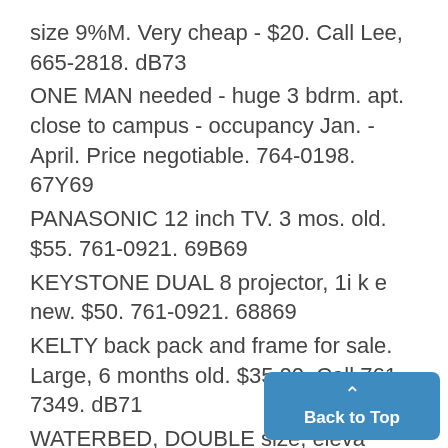size 9%M. Very cheap - $20. Call Lee, 665-2818. dB73
ONE MAN needed - huge 3 bdrm. apt. close to campus - occupancy Jan. - April. Price negotiable. 764-0198. 67Y69
PANASONIC 12 inch TV. 3 mos. old. $55. 761-0921. 69B69
KEYSTONE DUAL 8 projector, 1i k e new. $50. 761-0921. 68869
KELTY back pack and frame for sale. Large, 6 months old. $35.00. Call 761-7349. dB71
WATERBED, DOUBLE size, eleva frame, liner, pad. 761-3517 or 665-